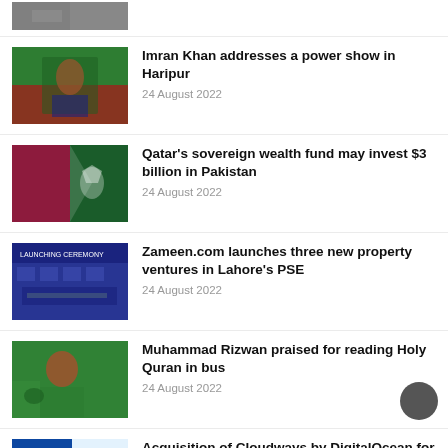[Figure (photo): Partially visible news thumbnail at the top of the page, cropped]
Imran Khan addresses a power show in Haripur
24 August 2022
[Figure (photo): Qatar and Pakistan flags side by side]
Qatar's sovereign wealth fund may invest $3 billion in Pakistan
24 August 2022
[Figure (photo): People at a launching ceremony event for Zameen.com]
Zameen.com launches three new property ventures in Lahore's PSE
24 August 2022
[Figure (photo): Muhammad Rizwan cricketer in green Pakistan jersey]
Muhammad Rizwan praised for reading Holy Quran in bus
24 August 2022
[Figure (photo): Cloudways and DigitalOcean logos, partially visible]
Acquisition of Cloudways by DigitalOcean for $350 million